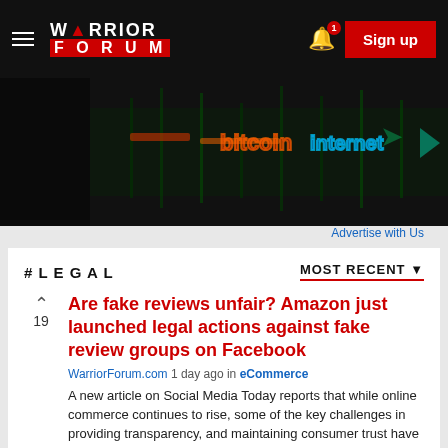WARRIOR FORUM — Sign up
[Figure (photo): Dark banner image with colorful neon text/graphics on a dark background — appears to be an advertisement banner]
Advertise with Us
#LEGAL    MOST RECENT ▼
Are fake reviews unfair? Amazon just launched legal actions against fake review groups on Facebook
WarriorForum.com 1 day ago in eCommerce
A new article on Social Media Today reports that while online commerce continues to rise, some of the key challenges in providing transparency, and maintaining consumer trust have become more …